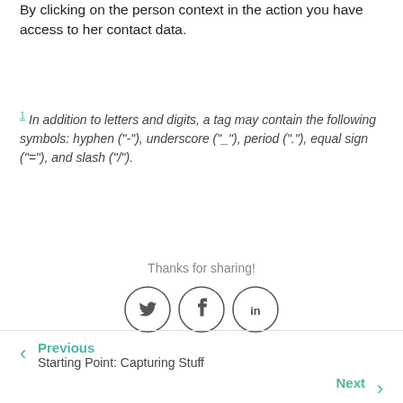By clicking on the person context in the action you have access to her contact data.
1 In addition to letters and digits, a tag may contain the following symbols: hyphen ("-"), underscore ("_"), period ("."), equal sign ("="), and slash ("/").
[Figure (infographic): Thanks for sharing! with three social media icons: Twitter (bird), Facebook (f), LinkedIn (in) - each in a circle outline]
Previous - Starting Point: Capturing Stuff | Next
Next